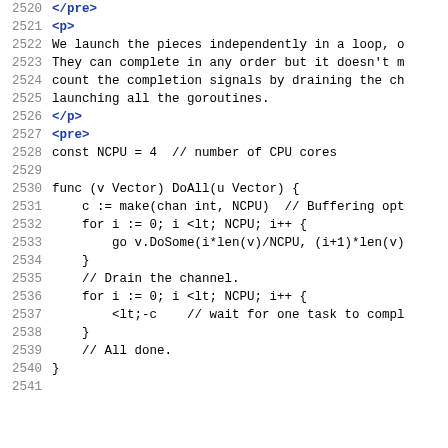2520  </pre>
2521  <p>
2522  We launch the pieces independently in a loop, o
2523  They can complete in any order but it doesn't m
2524  count the completion signals by draining the ch
2525  launching all the goroutines.
2526  </p>
2527  <pre>
2528  const NCPU = 4  // number of CPU cores
2529  
2530  func (v Vector) DoAll(u Vector) {
2531      c := make(chan int, NCPU)  // Buffering opt
2532      for i := 0; i &lt; NCPU; i++ {
2533          go v.DoSome(i*len(v)/NCPU, (i+1)*len(v)
2534      }
2535      // Drain the channel.
2536      for i := 0; i &lt; NCPU; i++ {
2537          &lt;-c    // wait for one task to compl
2538      }
2539      // All done.
2540  }
2541